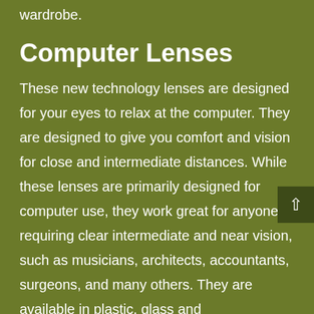wardrobe.
Computer Lenses
These new technology lenses are designed for your eyes to relax at the computer. They are designed to give you comfort and vision for close and intermediate distances. While these lenses are primarily designed for computer use, they work great for anyone requiring clear intermediate and near vision, such as musicians, architects, accountants, surgeons, and many others. They are available in plastic, glass and polycarbonate, single vision as well as progressive lenses too.
Motion D...